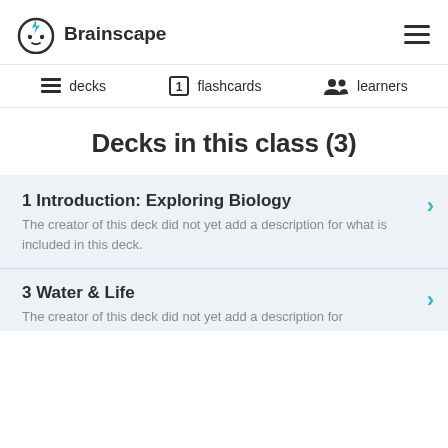Brainscape
decks  flashcards  learners
Decks in this class (3)
1 Introduction: Exploring Biology
The creator of this deck did not yet add a description for what is included in this deck.
3 Water & Life
The creator of this deck did not yet add a description for